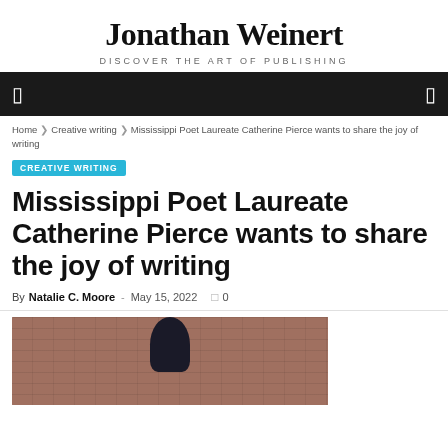Jonathan Weinert
DISCOVER THE ART OF PUBLISHING
Home » Creative writing » Mississippi Poet Laureate Catherine Pierce wants to share the joy of writing
CREATIVE WRITING
Mississippi Poet Laureate Catherine Pierce wants to share the joy of writing
By Natalie C. Moore - May 15, 2022  0
[Figure (photo): Photo of a woman with dark hair against a brick wall background]